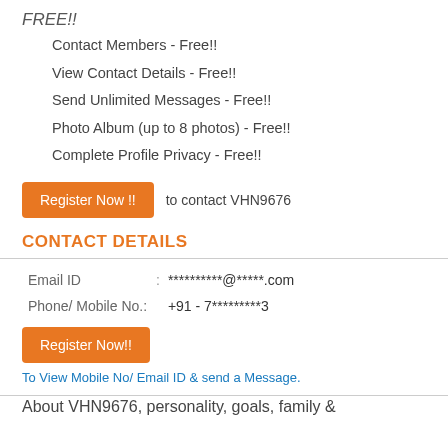FREE!!
Contact Members - Free!!
View Contact Details - Free!!
Send Unlimited Messages - Free!!
Photo Album (up to 8 photos) - Free!!
Complete Profile Privacy - Free!!
Register Now !!  to contact VHN9676
CONTACT DETAILS
| Field |  | Value |
| --- | --- | --- |
| Email ID | : | **********@*****.com |
| Phone/ Mobile No.: |  | +91 - 7*********3 |
Register Now!! To View Mobile No/ Email ID & send a Message.
About VHN9676, personality, goals, family &